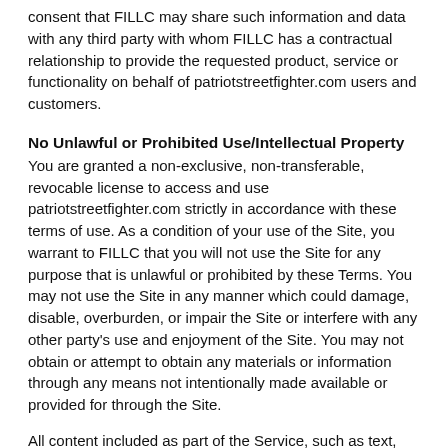consent that FILLC may share such information and data with any third party with whom FILLC has a contractual relationship to provide the requested product, service or functionality on behalf of patriotstreetfighter.com users and customers.
No Unlawful or Prohibited Use/Intellectual Property
You are granted a non-exclusive, non-transferable, revocable license to access and use patriotstreetfighter.com strictly in accordance with these terms of use. As a condition of your use of the Site, you warrant to FILLC that you will not use the Site for any purpose that is unlawful or prohibited by these Terms. You may not use the Site in any manner which could damage, disable, overburden, or impair the Site or interfere with any other party's use and enjoyment of the Site. You may not obtain or attempt to obtain any materials or information through any means not intentionally made available or provided for through the Site.
All content included as part of the Service, such as text, graphics, logos, images, as well as the compilation thereof, and any software used on the Site, is the property of FILLC or its suppliers and protected by copyright and other laws that protect intellectual property and proprietary rights. You agree to observe...